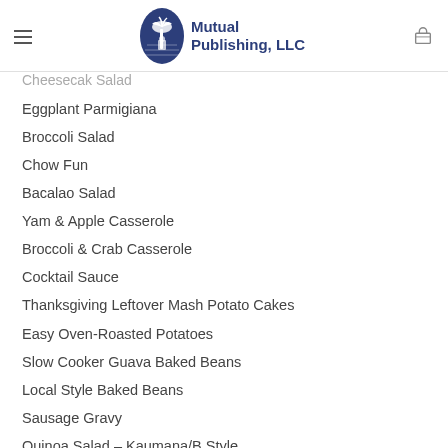Mutual Publishing, LLC
Cheesecake Salad (partially visible)
Eggplant Parmigiana
Broccoli Salad
Chow Fun
Bacalao Salad
Yam & Apple Casserole
Broccoli & Crab Casserole
Cocktail Sauce
Thanksgiving Leftover Mash Potato Cakes
Easy Oven-Roasted Potatoes
Slow Cooker Guava Baked Beans
Local Style Baked Beans
Sausage Gravy
Quinoa Salad – Kaumana/B Style
Phoenix Beans
Smoke Salmon Salad (partially visible)